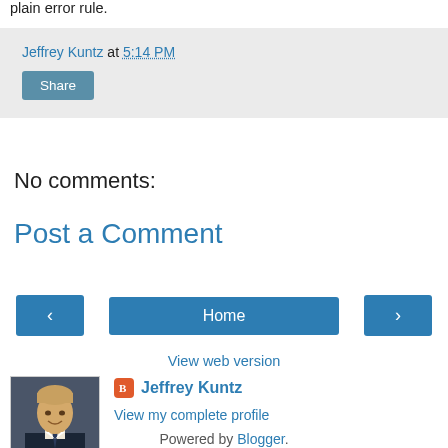plain error rule.
Jeffrey Kuntz at 5:14 PM
Share
No comments:
Post a Comment
‹ Home ›
View web version
Jeffrey Kuntz
View my complete profile
Powered by Blogger.